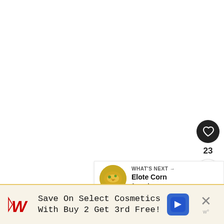[Figure (screenshot): White blank main content area of a webpage]
[Figure (infographic): Heart/like button (dark circle with white heart icon), count label '23', and share button (white circle with share icon)]
23
[Figure (infographic): What's Next banner showing a thumbnail of Elote Corn food image and text 'WHAT'S NEXT → Elote Corn (Mexican...']
WHAT'S NEXT → Elote Corn (Mexican...
[Figure (infographic): Advertisement bar: Walgreens logo with 'Save On Select Cosmetics With Buy 2 Get 3rd Free!' and a navigation icon and close button]